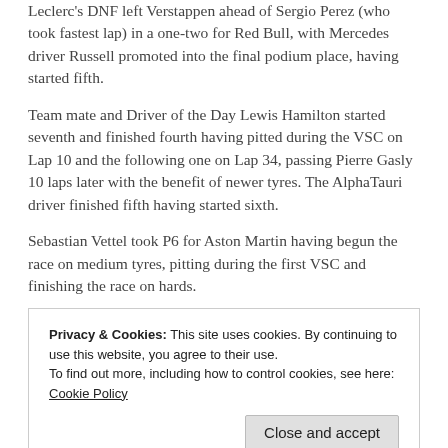Leclerc's DNF left Verstappen ahead of Sergio Perez (who took fastest lap) in a one-two for Red Bull, with Mercedes driver Russell promoted into the final podium place, having started fifth.
Team mate and Driver of the Day Lewis Hamilton started seventh and finished fourth having pitted during the VSC on Lap 10 and the following one on Lap 34, passing Pierre Gasly 10 laps later with the benefit of newer tyres. The AlphaTauri driver finished fifth having started sixth.
Sebastian Vettel took P6 for Aston Martin having begun the race on medium tyres, pitting during the first VSC and finishing the race on hards.
Alpine's Fernando Alonso started 10th but made it up to
Privacy & Cookies: This site uses cookies. By continuing to use this website, you agree to their use.
To find out more, including how to control cookies, see here: Cookie Policy
Esteban Ocon, who started from 15th on hard tyres and took